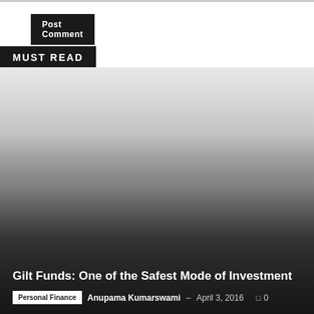[Figure (other): Post Comment button — dark black rectangular button with white bold text]
MUST READ
[Figure (photo): Article card with gradient overlay image (grey gradient from light to dark), showing title 'Gilt Funds: One of the Safest Mode of Investment', category tag 'Personal Finance', author 'Anupama Kumarswami', date 'April 3, 2016', and comment count '0']
Gilt Funds: One of the Safest Mode of Investment
Personal Finance  Anupama Kumarswami – April 3, 2016  0